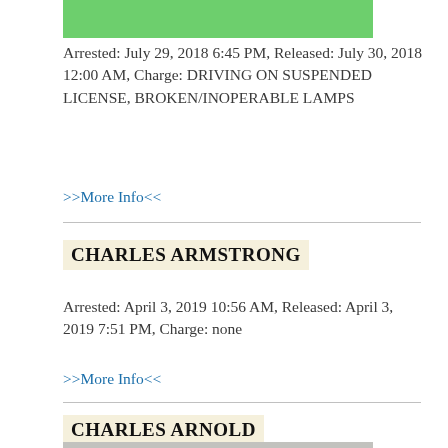[Figure (photo): Partial photo of person in green shirt, top portion cropped]
Arrested: July 29, 2018 6:45 PM, Released: July 30, 2018 12:00 AM, Charge: DRIVING ON SUSPENDED LICENSE, BROKEN/INOPERABLE LAMPS
>>More Info<<
CHARLES ARMSTRONG
Arrested: April 3, 2019 10:56 AM, Released: April 3, 2019 7:51 PM, Charge: none
>>More Info<<
CHARLES ARNOLD
[Figure (photo): Partial photo of person in front of gray brick wall, bottom portion visible]